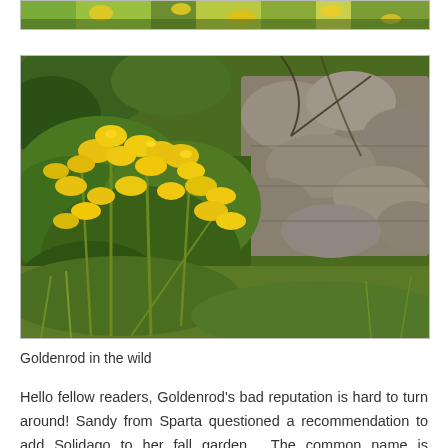[Figure (photo): Partial view of goldenrod plants with yellow flowers at top edge of page]
[Figure (photo): Goldenrod plants with bright yellow flowers growing wild among rocks and grass in a natural outdoor setting]
Goldenrod in the wild
Hello fellow readers, Goldenrod's bad reputation is hard to turn around! Sandy from Sparta questioned a recommendation to add Solidago to her fall garden.  The common name is Goldenrod, after all, and doesn't it